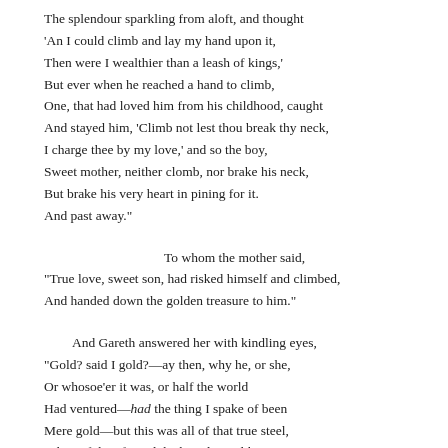The splendour sparkling from aloft, and thought
'An I could climb and lay my hand upon it,
Then were I wealthier than a leash of kings,'
But ever when he reached a hand to climb,
One, that had loved him from his childhood, caught
And stayed him, 'Climb not lest thou break thy neck,
I charge thee by my love,' and so the boy,
Sweet mother, neither clomb, nor brake his neck,
But brake his very heart in pining for it.
And past away."

    To whom the mother said,
"True love, sweet son, had risked himself and climbed,
And handed down the golden treasure to him."

  And Gareth answered her with kindling eyes,
"Gold? said I gold?—ay then, why he, or she,
Or whosoe'er it was, or half the world
Had ventured—had the thing I spake of been
Mere gold—but this was all of that true steel,
Whereof they forged the brand Excalibur,
And lightnings played about it in the storm,
And all the little fowl were flurried at it,